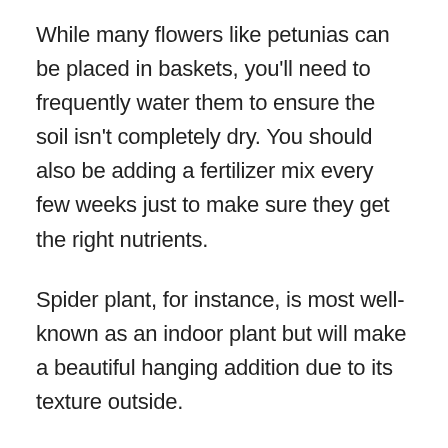While many flowers like petunias can be placed in baskets, you'll need to frequently water them to ensure the soil isn't completely dry. You should also be adding a fertilizer mix every few weeks just to make sure they get the right nutrients.
Spider plant, for instance, is most well-known as an indoor plant but will make a beautiful hanging addition due to its texture outside.
Sweet alyssum also requires minimum effort, while it blooms beautifully even in late spring. Tiny flowers and picks like Spider Plant make the most exciting-looking choices for full sun hanging plants.
Palms And Small Trees – An Exotic